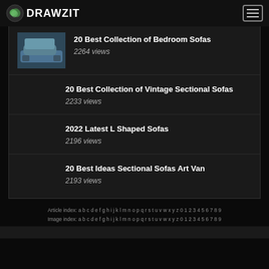DRAWZIT
20 Best Collection of Bedroom Sofas
2264 views
20 Best Collection of Vintage Sectional Sofas
2233 views
2022 Latest L Shaped Sofas
2196 views
20 Best Ideas Sectional Sofas Art Van
2193 views
Article index: a b c d e f g h i j k l m n o p q r s t u v w x y z 0 1 2 3 4 5 6 7 8 9
Image index: a b c d e f g h i j k l m n o p q r s t u v w x y z 0 1 2 3 4 5 6 7 8 9